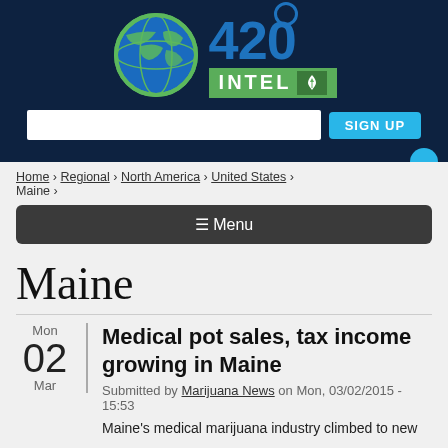[Figure (logo): 420 Intel website logo with globe graphic and cannabis leaf icon on dark navy background]
Home › Regional › North America › United States › Maine ›
☰ Menu
Maine
Mon 02 Mar
Medical pot sales, tax income growing in Maine
Submitted by Marijuana News on Mon, 03/02/2015 - 15:53
Maine's medical marijuana industry climbed to new